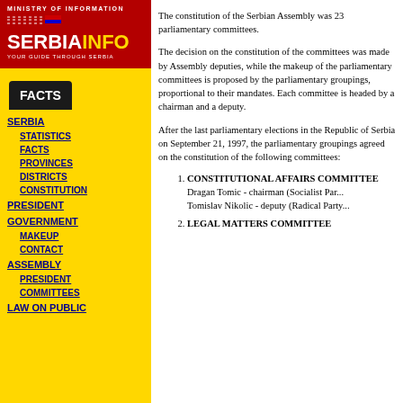[Figure (logo): SerbiaInfo logo with Ministry of Information header on red background]
FACTS
SERBIA
STATISTICS
FACTS
PROVINCES
DISTRICTS
CONSTITUTION
PRESIDENT
GOVERNMENT
MAKEUP
CONTACT
ASSEMBLY
PRESIDENT
COMMITTEES
LAW ON PUBLIC
The constitution of the Serbian Assembly was 23 parliamentary committees.
The decision on the constitution of the committees was made by Assembly deputies, while the makeup of the parliamentary committees is proposed by the parliamentary groupings, proportional to their mandates. Each committee is headed by a chairman and a deputy.
After the last parliamentary elections in the Republic of Serbia on September 21, 1997, the parliamentary groupings agreed on the constitution of the following committees:
CONSTITUTIONAL AFFAIRS COMMITTEE - Dragan Tomic - chairman (Socialist Party of Serbia) Tomislav Nikolic - deputy (Radical Party of Serbia)
LEGAL MATTERS COMMITTEE